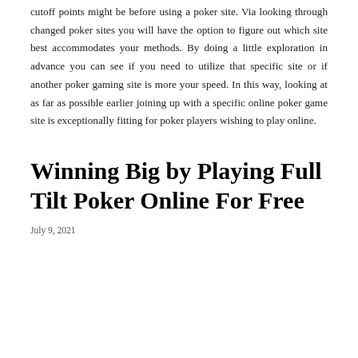cutoff points might be before using a poker site. Via looking through changed poker sites you will have the option to figure out which site best accommodates your methods. By doing a little exploration in advance you can see if you need to utilize that specific site or if another poker gaming site is more your speed. In this way, looking at as far as possible earlier joining up with a specific online poker game site is exceptionally fitting for poker players wishing to play online.
Winning Big by Playing Full Tilt Poker Online For Free
July 9, 2021